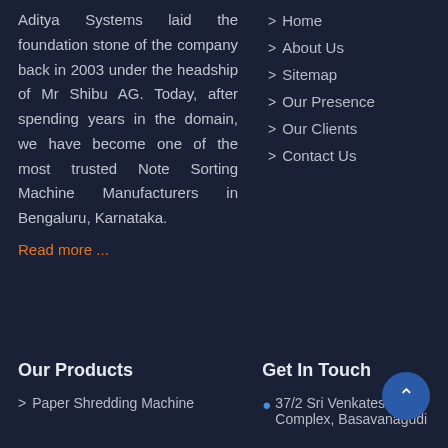Aditya Systems laid the foundation stone of the company back in 2003 under the headship of Mr Shibu AG. Today, after spending years in the domain, we have become one of the most trusted Note Sorting Machine Manufacturers in Bengaluru, Karnataka.
Read more ...
Home
About Us
Sitemap
Our Presence
Our Clients
Contact Us
Our Products
Get In Touch
Paper Shredding Machine
37/2 Sri Venkateshwara Complex, Basavanagudi